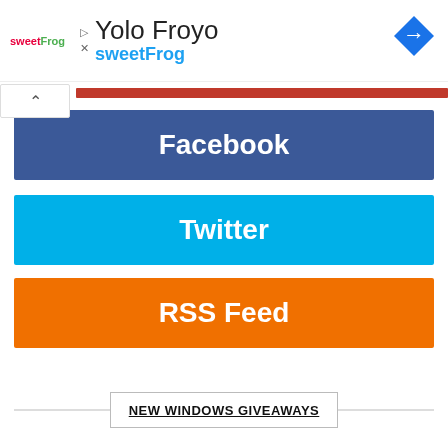[Figure (logo): sweetFrog logo with frog icon and Yolo Froyo text]
Yolo Froyo
sweetFrog
[Figure (infographic): Facebook button (blue), Twitter button (cyan), RSS Feed button (orange)]
NEW WINDOWS GIVEAWAYS